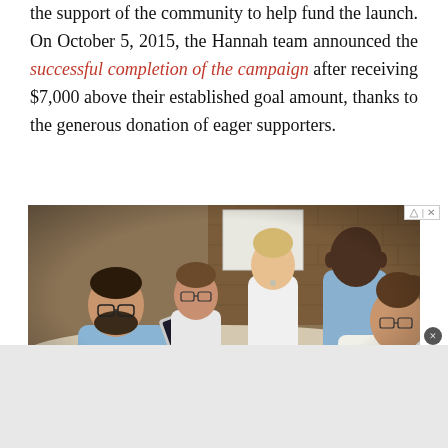the support of the community to help fund the launch. On October 5, 2015, the Hannah team announced the successful completion of the campaign after receiving $7,000 above their established goal amount, thanks to the generous donation of eager supporters.
[Figure (photo): A group of five people sitting around a conference table in a meeting, with brick wall background. One person is holding a tablet, others are engaged in discussion. Coffee mugs visible on table.]